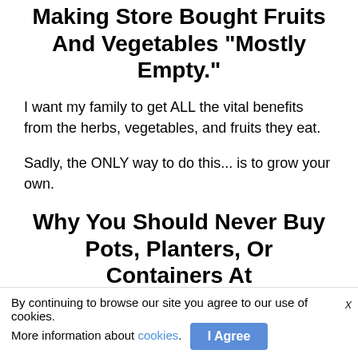Making Store Bought Fruits And Vegetables "Mostly Empty."
I want my family to get ALL the vital benefits from the herbs, vegetables, and fruits they eat.
Sadly, the ONLY way to do this... is to grow your own.
Why You Should Never Buy Pots, Planters, Or Containers At
The Big Box Stores
By continuing to browse our site you agree to our use of cookies. More information about cookies. I Agree